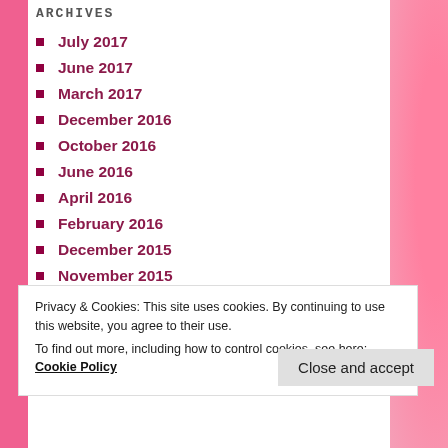ARCHIVES
July 2017
June 2017
March 2017
December 2016
October 2016
June 2016
April 2016
February 2016
December 2015
November 2015
October 2015
September 2015
August 2015
Privacy & Cookies: This site uses cookies. By continuing to use this website, you agree to their use. To find out more, including how to control cookies, see here: Cookie Policy